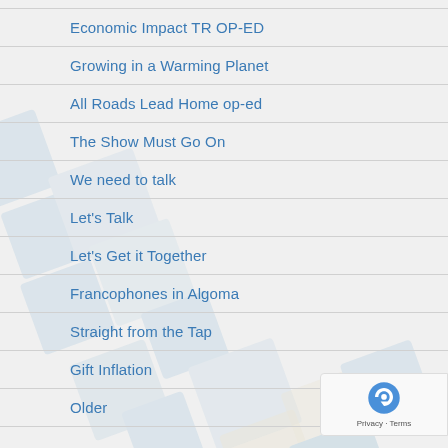Economic Impact TR OP-ED
Growing in a Warming Planet
All Roads Lead Home op-ed
The Show Must Go On
We need to talk
Let's Talk
Let's Get it Together
Francophones in Algoma
Straight from the Tap
Gift Inflation
Older